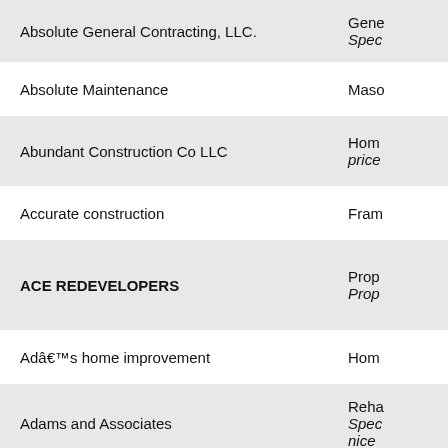| Company Name | Details |
| --- | --- |
| Absolute General Contracting, LLC. | Gene…
Spec… |
| Absolute Maintenance | Maso… |
| Abundant Construction Co LLC | Hom…
price… |
| Accurate construction | Fram… |
| ACE REDEVELOPERS | Prop…
Prop… |
| Adâ€™s home improvement | Hom… |
| Adams and Associates | Reha…
Spec…
nice… |